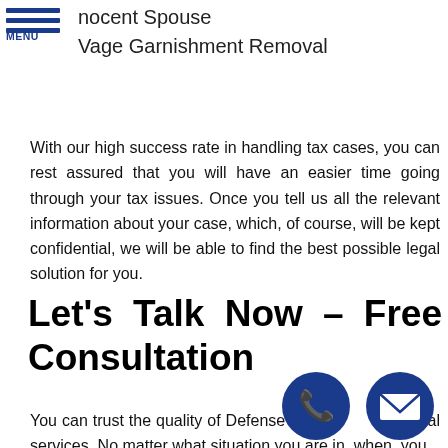MENU | nocent Spouse | Vage Garnishment Removal
With our high success rate in handling tax cases, you can rest assured that you will have an easier time going through your tax issues. Once you tell us all the relevant information about your case, which, of course, will be kept confidential, we will be able to find the best possible legal solution for you.
Let’s Talk Now – Free Consultation
You can trust the quality of Defense Tax her al services. No matter what situation you are in, when you